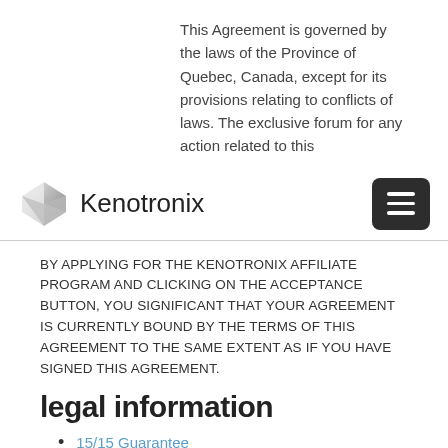This Agreement is governed by the laws of the Province of Quebec, Canada, except for its provisions relating to conflicts of laws. The exclusive forum for any action related to this
Kenotronix
BY APPLYING FOR THE KENOTRONIX AFFILIATE PROGRAM AND CLICKING ON THE ACCEPTANCE BUTTON, YOU SIGNIFICANT THAT YOUR AGREEMENT IS CURRENTLY BOUND BY THE TERMS OF THIS AGREEMENT TO THE SAME EXTENT AS IF YOU HAVE SIGNED THIS AGREEMENT.
legal information
15/15 Guarantee
Acceptable Usage
Azure Managed Services Agreement